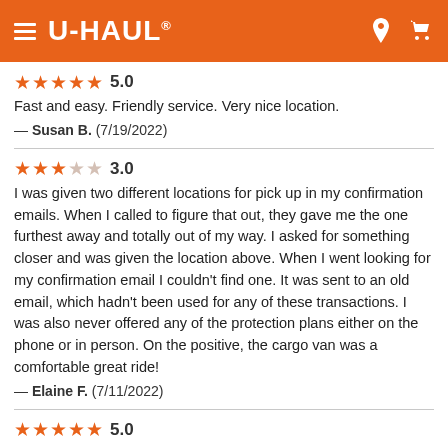U-HAUL
★★★★★ 5.0
Fast and easy. Friendly service. Very nice location.
— Susan B.  (7/19/2022)
★★★☆☆ 3.0
I was given two different locations for pick up in my confirmation emails. When I called to figure that out, they gave me the one furthest away and totally out of my way. I asked for something closer and was given the location above. When I went looking for my confirmation email I couldn't find one. It was sent to an old email, which hadn't been used for any of these transactions. I was also never offered any of the protection plans either on the phone or in person. On the positive, the cargo van was a comfortable great ride!
— Elaine F.  (7/11/2022)
★★★★★ 5.0